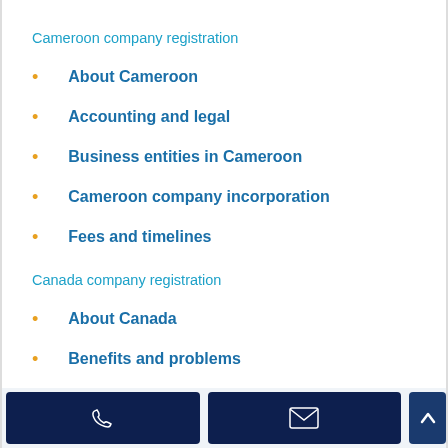Cameroon company registration
About Cameroon
Accounting and legal
Business entities in Cameroon
Cameroon company incorporation
Fees and timelines
Canada company registration
About Canada
Benefits and problems
British Columbia company incorporation